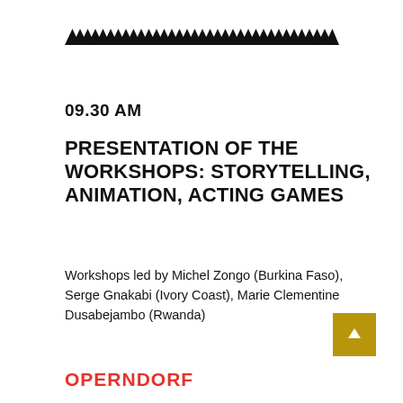[Figure (illustration): Decorative zigzag/triangle pattern border stripe in black]
09.30 AM
PRESENTATION OF THE WORKSHOPS: STORYTELLING, ANIMATION, ACTING GAMES
Workshops led by Michel Zongo (Burkina Faso), Serge Gnakabi (Ivory Coast), Marie Clementine Dusabejambo (Rwanda)
OPERNDORF